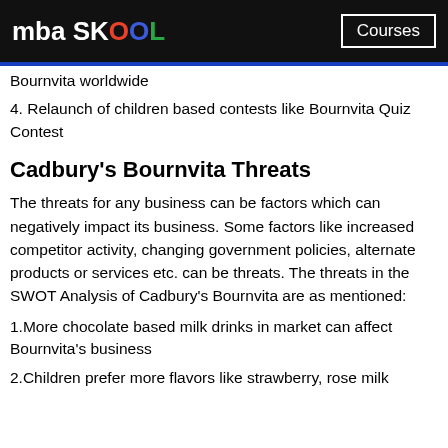mba SKOOL | Courses
Bournvita worldwide
4. Relaunch of children based contests like Bournvita Quiz Contest
Cadbury's Bournvita Threats
The threats for any business can be factors which can negatively impact its business. Some factors like increased competitor activity, changing government policies, alternate products or services etc. can be threats. The threats in the SWOT Analysis of Cadbury's Bournvita are as mentioned:
1.More chocolate based milk drinks in market can affect Bournvita's business
2.Children prefer more flavors like strawberry, rose milk